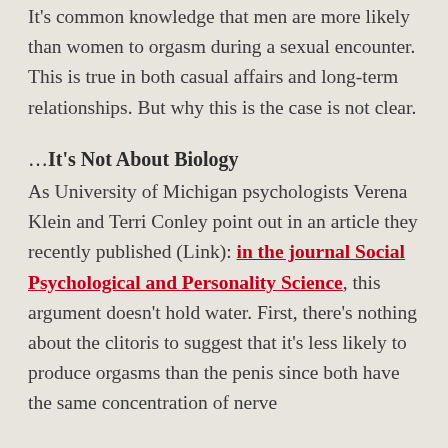It's common knowledge that men are more likely than women to orgasm during a sexual encounter. This is true in both casual affairs and long-term relationships. But why this is the case is not clear.
…It's Not About Biology
As University of Michigan psychologists Verena Klein and Terri Conley point out in an article they recently published (Link): in the journal Social Psychological and Personality Science, this argument doesn't hold water. First, there's nothing about the clitoris to suggest that it's less likely to produce orgasms than the penis since both have the same concentration of nerve